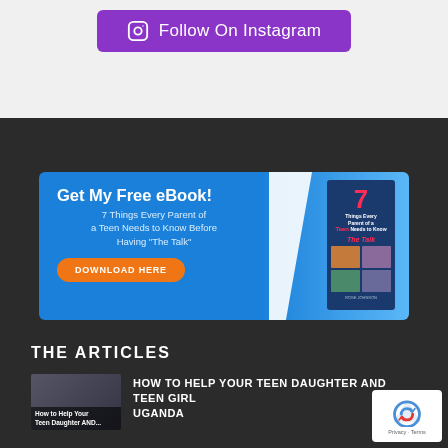[Figure (other): Purple button with Instagram icon and text 'Follow On Instagram']
[Figure (other): Blue ebook banner with text 'Get My Free eBook! 7 Things Every Parent of a Teen Needs to Know Before Having The Talk' and a Download Here button, with book cover image on the right]
THE ARTICLES
[Figure (photo): Thumbnail image with overlay text 'How to Help Your Teen Daughter AND...']
HOW TO HELP YOUR TEEN DAUGHTER AND TEEN GIRL UGANDA